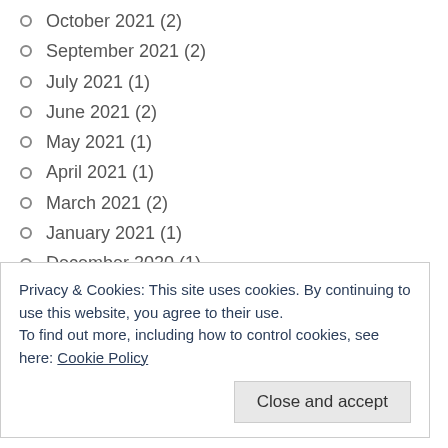October 2021 (2)
September 2021 (2)
July 2021 (1)
June 2021 (2)
May 2021 (1)
April 2021 (1)
March 2021 (2)
January 2021 (1)
December 2020 (1)
November 2020 (2)
October 2020 (2)
September 2020 (1)
Privacy & Cookies: This site uses cookies. By continuing to use this website, you agree to their use.
To find out more, including how to control cookies, see here: Cookie Policy

Close and accept